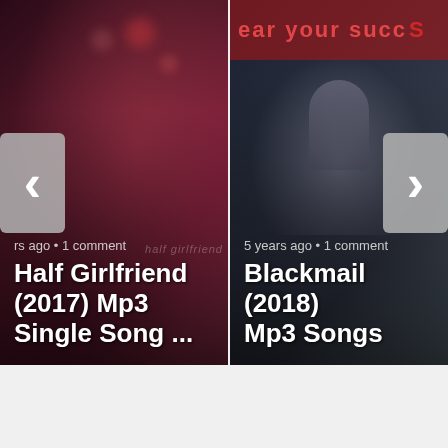[Figure (screenshot): A carousel slider showing two movie music download cards. Left card: 'Half Girlfriend (2017) Mp3 Single Song ...' with metadata 'years ago • 1 comment'. Right card: 'Blackmail (2018) Mp3 Songs' with metadata '5 years ago • 1 comment'. Left and right navigation arrows are visible.]